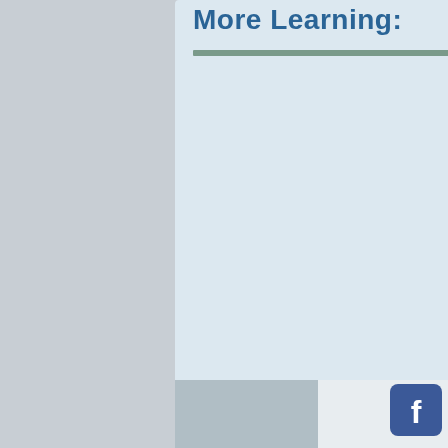More Learning:
[Figure (logo): Facebook logo icon — blue rounded square with white lowercase 'f']